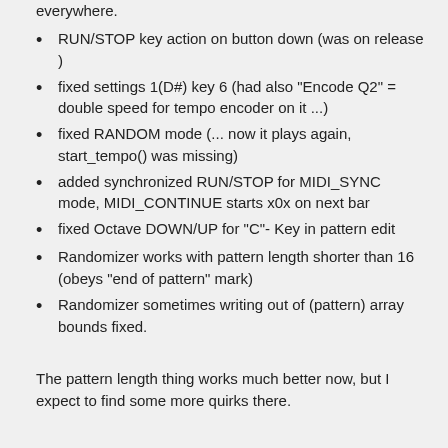everywhere.
RUN/STOP key action on button down (was on release )
fixed settings 1(D#) key 6 (had also "Encode Q2" = double speed for tempo encoder on it ...)
fixed RANDOM mode (... now it plays again, start_tempo() was missing)
added synchronized RUN/STOP for MIDI_SYNC mode, MIDI_CONTINUE starts x0x on next bar
fixed Octave DOWN/UP for "C"- Key in pattern edit
Randomizer works with pattern length shorter than 16 (obeys "end of pattern" mark)
Randomizer sometimes writing out of (pattern) array bounds fixed.
The pattern length thing works much better now, but I expect to find some more quirks there.